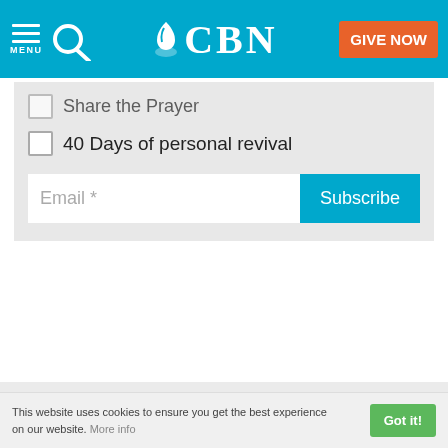CBN - MENU | Search | GIVE NOW
Share the Prayer
40 Days of personal revival
Email * [input field] Subscribe [button]
ALSO OF INTEREST
Sylvester Stallone on Faith, Integrity, and...
Please explain for me the Islamic calendar
C.S. Lewis' Journey to Faith
This website uses cookies to ensure you get the best experience on our website. More info | Got it!